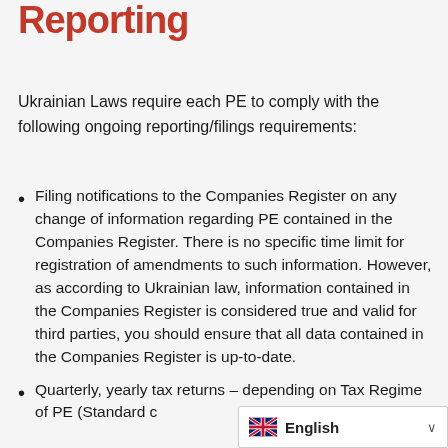Reporting
Ukrainian Laws require each PE to comply with the following ongoing reporting/filings requirements:
Filing notifications to the Companies Register on any change of information regarding PE contained in the Companies Register. There is no specific time limit for registration of amendments to such information. However, as according to Ukrainian law, information contained in the Companies Register is considered true and valid for third parties, you should ensure that all data contained in the Companies Register is up-to-date.
Quarterly, yearly tax returns – depending on Tax Regime of PE (Standard c…